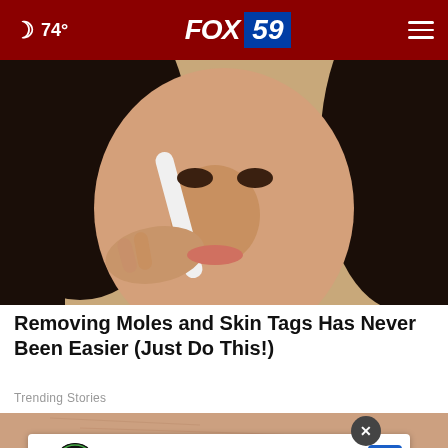🌙 74° FOX 59
[Figure (photo): Woman applying a white peel-off strip to her nose, close-up shot with dark hair]
Removing Moles and Skin Tags Has Never Been Easier (Just Do This!)
Trending Stories
[Figure (photo): Close-up of skin texture, pinkish-peach tones, partial view]
[Figure (other): Advertisement: Ashburn OPEN 7:30 AM–6PM, 43781 Parkhurst Plaza, Ashburn — AutoZone or similar auto parts store ad with logo and navigation arrow]